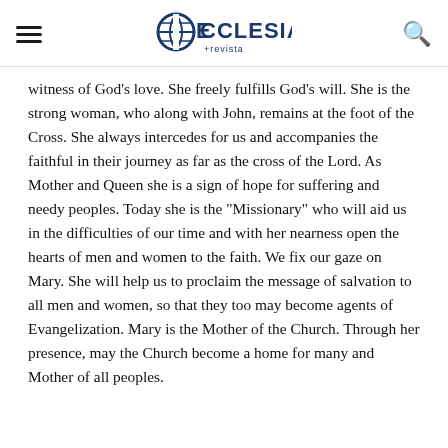ECCLESIA +revista
witness of God’s love. She freely fulfills God’s will. She is the strong woman, who along with John, remains at the foot of the Cross. She always intercedes for us and accompanies the faithful in their journey as far as the cross of the Lord. As Mother and Queen she is a sign of hope for suffering and needy peoples. Today she is the “Missionary” who will aid us in the difficulties of our time and with her nearness open the hearts of men and women to the faith. We fix our gaze on Mary. She will help us to proclaim the message of salvation to all men and women, so that they too may become agents of Evangelization. Mary is the Mother of the Church. Through her presence, may the Church become a home for many and Mother of all peoples.